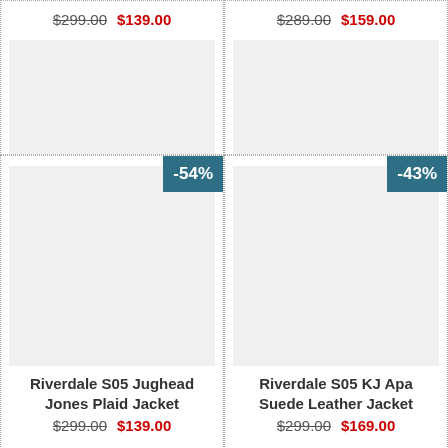$299.00  $139.00
$289.00  $159.00
[Figure (other): Product card: Riverdale S05 Jughead Jones Plaid Jacket, -54% badge, image placeholder, price $299.00 / $139.00]
[Figure (other): Product card: Riverdale S05 KJ Apa Suede Leather Jacket, -43% badge, image placeholder, price $299.00 / $169.00]
$299.00  $139.00
$299.00  $169.00
[Figure (other): Partial product card at bottom left with -45% badge]
[Figure (other): Partial product card at bottom right with -44% badge]